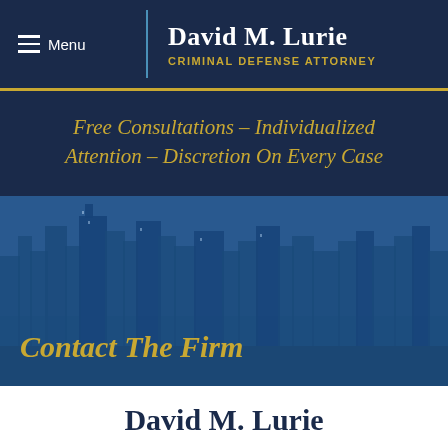Menu
David M. Lurie
CRIMINAL DEFENSE ATTORNEY
Free Consultations – Individualized Attention – Discretion On Every Case
[Figure (photo): City skyline photo with blue overlay tint showing urban buildings]
Contact The Firm
David M. Lurie